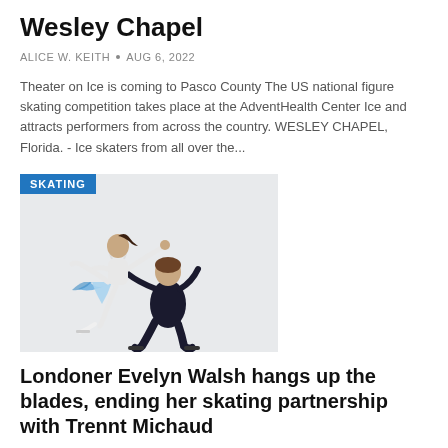Wesley Chapel
ALICE W. KEITH • Aug 6, 2022
Theater on Ice is coming to Pasco County The US national figure skating competition takes place at the AdventHealth Center Ice and attracts performers from across the country. WESLEY CHAPEL, Florida. - Ice skaters from all over the...
[Figure (photo): Two ice skaters performing a pairs lift routine. A woman in a white and blue dress extends one leg while being supported by a male partner in black. A 'SKATING' label badge appears in the top-left corner of the image.]
Londoner Evelyn Walsh hangs up the blades, ending her skating partnership with Trennt Michaud
ALICE W. KEITH • Aug 5, 2022
Breadcrumb Links Olympic Games local sports Evelyn Walsh is hanging up her competition figure skates to hit the books this fall. Canada's Evelyn Walsh and Trennt Michaud perform during the Pairs Free Skating...